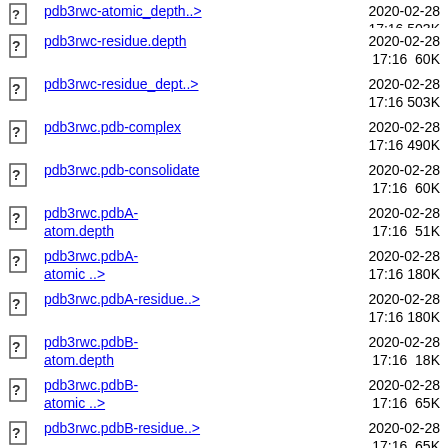pdb3rwc-atomic_depth..> 2020-02-28 17:16 503K
pdb3rwc-residue.depth 2020-02-28 17:16 60K
pdb3rwc-residue_dept..> 2020-02-28 17:16 503K
pdb3rwc.pdb-complex 2020-02-28 17:16 490K
pdb3rwc.pdb-consolidate 2020-02-28 17:16 60K
pdb3rwc.pdbA-atom.depth 2020-02-28 17:16 51K
pdb3rwc.pdbA-atomic_..> 2020-02-28 17:16 180K
pdb3rwc.pdbA-residue..> 2020-02-28 17:16 180K
pdb3rwc.pdbB-atom.depth 2020-02-28 17:16 18K
pdb3rwc.pdbB-atomic_..> 2020-02-28 17:16 65K
pdb3rwc.pdbB-residue..> 2020-02-28 17:16 65K
pdb3rwc.pdbC-atom.depth 2020-02-28 17:16 1.8K